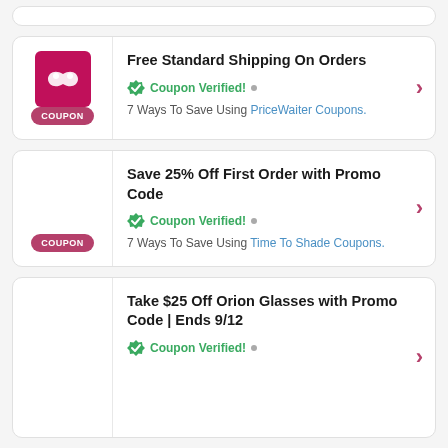[Figure (screenshot): Partial coupon card at top (cropped), showing only bottom edge]
Free Standard Shipping On Orders
Coupon Verified! • 7 Ways To Save Using PriceWaiter Coupons.
Save 25% Off First Order with Promo Code
Coupon Verified! • 7 Ways To Save Using Time To Shade Coupons.
Take $25 Off Orion Glasses with Promo Code | Ends 9/12
Coupon Verified!